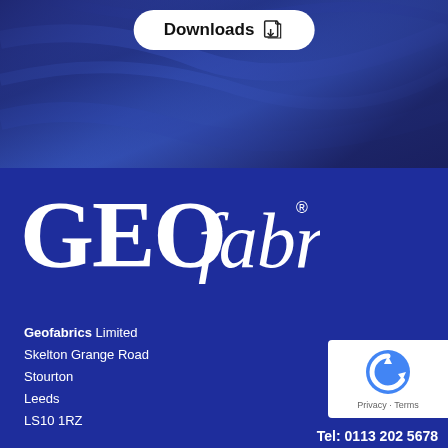[Figure (photo): Dark navy blue fabric texture background with folds and creases visible, with a 'Downloads' button overlay at the top center]
[Figure (logo): GEOfabrics logo in white script/serif lettering with registered trademark symbol on dark blue background]
Geofabrics Limited
Skelton Grange Road
Stourton
Leeds
LS10 1RZ
[Figure (other): reCAPTCHA badge with Google reCAPTCHA logo, Privacy and Terms links]
Tel: 0113 202 5678